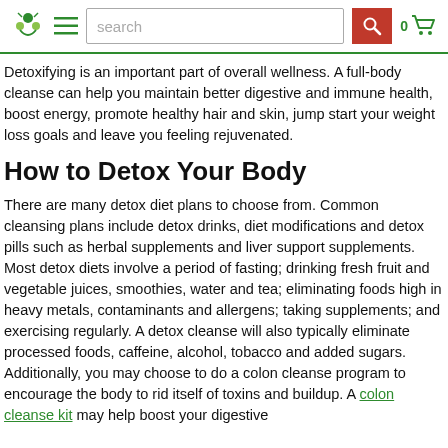search 0
Detoxifying is an important part of overall wellness. A full-body cleanse can help you maintain better digestive and immune health, boost energy, promote healthy hair and skin, jump start your weight loss goals and leave you feeling rejuvenated.
How to Detox Your Body
There are many detox diet plans to choose from. Common cleansing plans include detox drinks, diet modifications and detox pills such as herbal supplements and liver support supplements. Most detox diets involve a period of fasting; drinking fresh fruit and vegetable juices, smoothies, water and tea; eliminating foods high in heavy metals, contaminants and allergens; taking supplements; and exercising regularly. A detox cleanse will also typically eliminate processed foods, caffeine, alcohol, tobacco and added sugars. Additionally, you may choose to do a colon cleanse program to encourage the body to rid itself of toxins and buildup. A colon cleanse kit may help boost your digestive